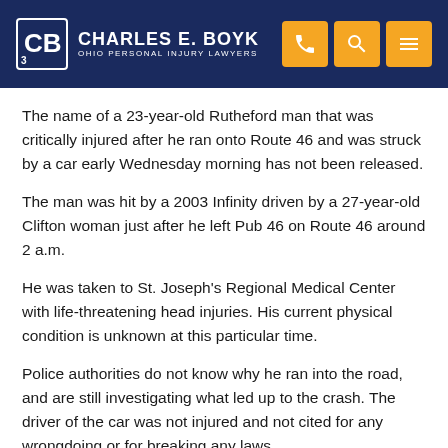Charles E. Boyk Ohio Personal Injury Lawyers
The name of a 23-year-old Rutheford man that was critically injured after he ran onto Route 46 and was struck by a car early Wednesday morning has not been released.
The man was hit by a 2003 Infinity driven by a 27-year-old Clifton woman just after he left Pub 46 on Route 46 around 2 a.m.
He was taken to St. Joseph's Regional Medical Center with life-threatening head injuries. His current physical condition is unknown at this particular time.
Police authorities do not know why he ran into the road, and are still investigating what led up to the crash. The driver of the car was not injured and not cited for any wrongdoing or for breaking any laws.
The deadline was recommended to be following a period of investigation...